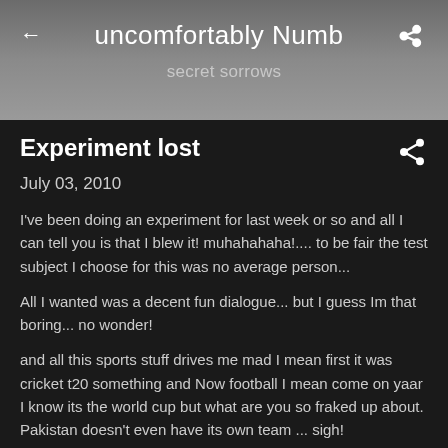uncomfortably Numb
secret sorrows
Experiment lost
July 03, 2010
I've been doing an experiment for last week or so and all I can tell you is that I blew it! muhahahaha!.... to be fair the test subject I choose for this was no average person...
All I wanted was a decent fun dialogue... but I guess Im that boring... no wonder!
and all this sports stuff drives me mad I mean first it was cricket t20 something and Now football I mean come on yaar I know its the world cup but what are you so fraked up about. Pakistan doesn't even have its own team ... sigh!